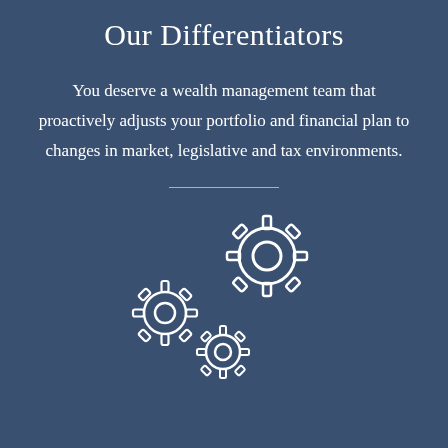Our Differentiators
You deserve a wealth management team that proactively adjusts your portfolio and financial plan to changes in market, legislative and tax environments.
[Figure (illustration): Three interlocking gear/cog icons in white outline style, arranged with a large gear at top-right, a medium gear at left-center, and a small gear at bottom-center, symbolizing mechanized processes or systems.]